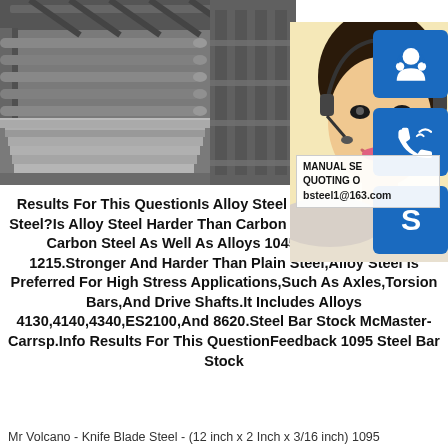[Figure (photo): Industrial steel plates on a rolling mill conveyor, showing metal plates stacked and aligned on machinery rollers in black and white tones]
[Figure (photo): Young Asian woman with headset smiling as a customer service representative, overlaid with blue icon buttons for online chat, phone, and Skype, and an info overlay showing MANUAL SE, QUOTING O, and bsteel1@163.com]
Results For This QuestionIs Alloy Steel Harder Than Carbon Steel?Is Alloy Steel Harder Than Carbon Steel?It Includes Low Carbon Steel As Well As Alloys 1045,1117,1144,And 1215.Stronger And Harder Than Plain Steel,Alloy Steel Is Preferred For High Stress Applications,Such As Axles,Torsion Bars,And Drive Shafts.It Includes Alloys 4130,4140,4340,ES2100,And 8620.Steel Bar Stock McMaster-Carrsp.Info Results For This QuestionFeedback 1095 Steel Bar Stock
Mr Volcano - Knife Blade Steel - (12 inch x 2 Inch x 3/16 inch) 1095